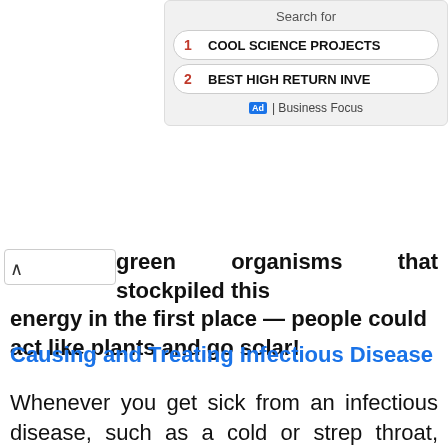[Figure (screenshot): Ad overlay showing 'Search for' with two sponsored results: 1. COOL SCIENCE PROJECTS, 2. BEST HIGH RETURN INVE... with Business Focus label]
green organisms that stockpiled this energy in the first place — people could act like plants and go solar!
Causing and Treating Infectious Disease
Whenever you get sick from an infectious disease, such as a cold or strep throat, you're dealing with the reproduction of an alien invader. Your immune system springs into action, activating the cells necessary to fight the invasion and keep the infectious virus or bacteria from replicating itself any further. Also,